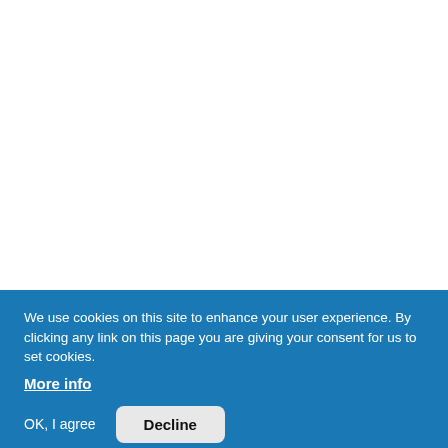We use cookies on this site to enhance your user experience. By clicking any link on this page you are giving your consent for us to set cookies.
More info
OK, I agree
Decline